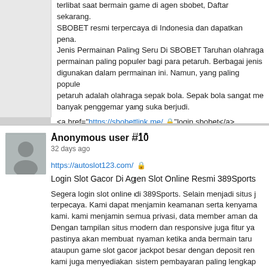terlibat saat bermain game di agen sbobet, Daftar sekarang. SBOBET resmi terpercaya di Indonesia dan dapatkan pena. Jenis Permainan Paling Seru Di SBOBET Taruhan olahraga permainan paling populer bagi para petaruh. Berbagai jenis digunakan dalam permainan ini. Namun, yang paling popule petaruh adalah olahraga sepak bola. Sepak bola sangat me banyak penggemar yang suka berjudi.
<a href="https://sbobetlink.me/ 🔒"login sbobet</a>
Anonymous user #10
32 days ago
https://autoslot123.com/ 🔒
Login Slot Gacor Di Agen Slot Online Resmi 389Sports
Segera login slot online di 389Sports. Selain menjadi situs j terpecaya. Kami dapat menjamin keamanan serta kenyama kami. kami menjamin semua privasi, data member aman da Dengan tampilan situs modern dan responsive juga fitur ya pastinya akan membuat nyaman ketika anda bermain taru ataupun game slot gacor jackpot besar dengan deposit ren kami juga menyediakan sistem pembayaran paling lengkap dengan agen judi lainnya. Berikut ini jenis deposit yang bisa